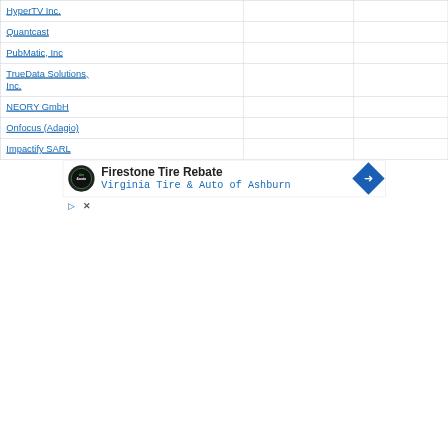| HyperTV Inc. |  |  |
| Quantcast |  |  |
| PubMatic, Inc |  |  |
| TrueData Solutions, Inc. |  |  |
| NEORY GmbH |  |  |
| Onfocus (Adagio) |  |  |
| Impactify SARL |  |  |
[Figure (other): Advertisement banner for Firestone Tire Rebate by Virginia Tire & Auto of Ashburn, with logo, text, and navigation arrow icon. Includes play and close icon controls.]